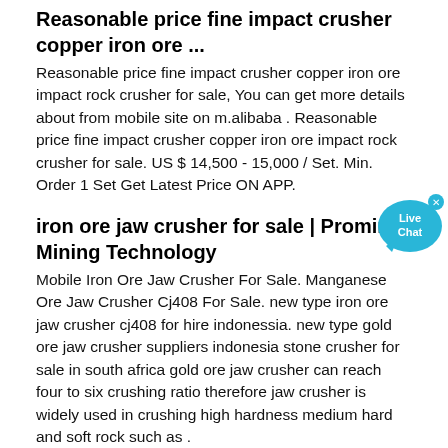Reasonable price fine impact crusher copper iron ore ...
Reasonable price fine impact crusher copper iron ore impact rock crusher for sale, You can get more details about from mobile site on m.alibaba . Reasonable price fine impact crusher copper iron ore impact rock crusher for sale. US $ 14,500 - 15,000 / Set. Min. Order 1 Set Get Latest Price ON APP.
iron ore jaw crusher for sale | Prominer Mining Technology
[Figure (illustration): Live Chat bubble icon in cyan/blue color with text 'Live Chat' inside]
Mobile Iron Ore Jaw Crusher For Sale. Manganese Ore Jaw Crusher Cj408 For Sale. new type iron ore jaw crusher cj408 for hire indonessia. new type gold ore jaw crusher suppliers indonesia stone crusher for sale in south africa gold ore jaw crusher can reach four to six crushing ratio therefore jaw crusher is widely used in crushing high hardness medium hard and soft rock such as .
Iron Ore Washing Plant Manufacturer In India Rock Crusher
2021-9-16 · Iron Ore Crushing Rajasthanhot Crushers. Gold Ore Crushing Work Tender For Lease Of Stone Quarry In. Por le crusher plant price in india por le crushing plant pics nigeria rod mill for gold ore mininggold rock grinding milling plant